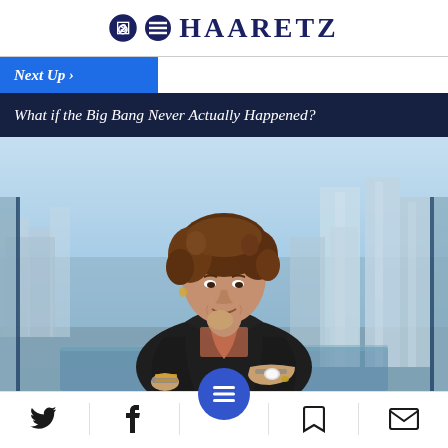HAARETZ
Next Up >
What if the Big Bang Never Actually Happened?
[Figure (photo): Woman in black blazer seated at a desk in a high-rise office with a Tel Aviv skyline visible through large windows in the background. She has curly brown hair and is resting her chin on her hand thoughtfully.]
Navigation bar with Twitter, Facebook, menu, bookmark, and email icons